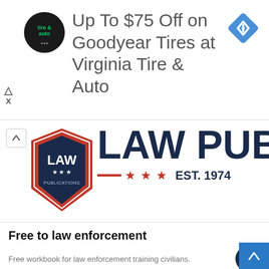[Figure (screenshot): Ad banner: Up To $75 Off on Goodyear Tires at Virginia Tire & Auto, with tire & auto logo and blue diamond arrow icon]
[Figure (logo): Law Publications badge logo next to large LAW PUBL text header with EST. 1974 and red stars]
Free to law enforcement
Free workbook for law enforcement training civilians.
God's Promise
The sun shall be no more thy light by day; neither for brightness shall the moon give light unto thee but the LORD shall be unto thee an everlasting